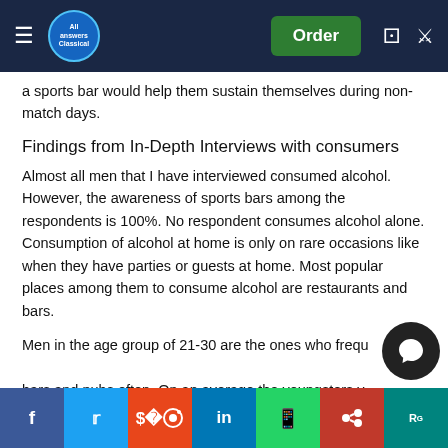All Answers — navigation bar with Order button
a sports bar would help them sustain themselves during non-match days.
Findings from In-Depth Interviews with consumers
Almost all men that I have interviewed consumed alcohol. However, the awareness of sports bars among the respondents is 100%. No respondent consumes alcohol alone. Consumption of alcohol at home is only on rare occasions like when they have parties or guests at home. Most popular places among them to consume alcohol are restaurants and bars.
Men in the age group of 21-30 are the ones who frequently visit bars and pubs often. On an average the youngsters visit pubs or bars once a month. They often go in a group of 4-8 and are mostly among men. Sports bar is a hit with this age group.
Social share buttons: Facebook, Twitter, Reddit, LinkedIn, WhatsApp, Mendeley, ResearchGate